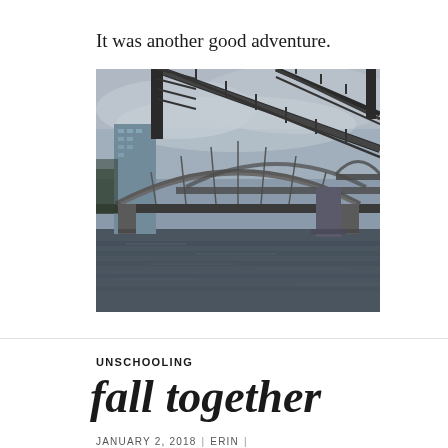It was another good adventure.
[Figure (photo): Photograph of a river scene with industrial/railway bridges and a modern glass skyscraper in the background, overcast sky, Nashville Tennessee]
UNSCHOOLING
fall together
JANUARY 2, 2018 | ERIN | GARDENING, HIKING, MAKING…